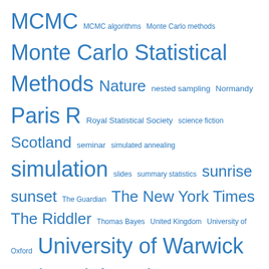[Figure (other): Tag cloud with blue hyperlinks of varying font sizes representing topics such as MCMC, Monte Carlo Statistical Methods, Paris, R, simulation, University of Warwick, Université Paris Dauphine, etc.]
Recent entries
the strange incident of the bottle in the fridge
a journal of the [tolerated] plague and [mostly] pestilence year
optimal Gaussian zorbing